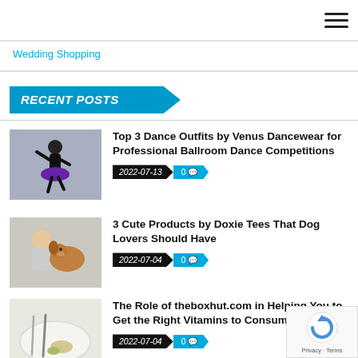Navigation bar with hamburger menu
Wedding Shopping
RECENT POSTS
[Figure (photo): Young girl in black top and purple dance skirt in ballroom dance pose]
Top 3 Dance Outfits by Venus Dancewear for Professional Ballroom Dance Competitions
2022-07-13  0
[Figure (photo): Woman hugging a golden/red dog]
3 Cute Products by Doxie Tees That Dog Lovers Should Have
2022-07-04  0
[Figure (photo): Food dish with fork and food items on white plate]
The Role of theboxhut.com in Helping You to Get the Right Vitamins to Consume
2022-07-04  0